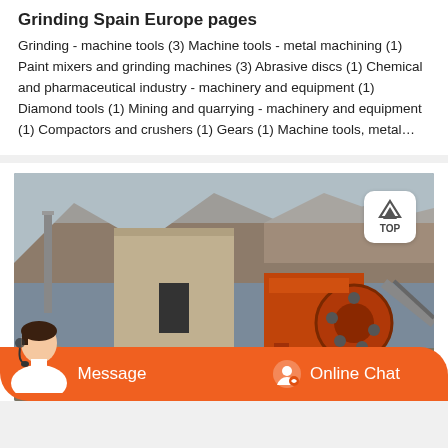Grinding Spain Europe pages
Grinding - machine tools (3) Machine tools - metal machining (1) Paint mixers and grinding machines (3) Abrasive discs (1) Chemical and pharmaceutical industry - machinery and equipment (1) Diamond tools (1) Mining and quarrying - machinery and equipment (1) Compactors and crushers (1) Gears (1) Machine tools, metal…
[Figure (photo): Outdoor industrial mining/quarrying site with large orange jaw crusher machine surrounded by rocks and boulders, with mountains and concrete structures in the background]
Message   Online Chat